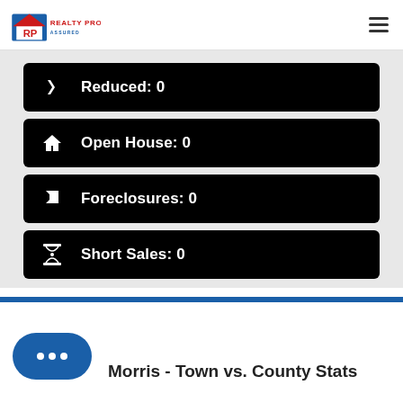Realty Pros Assured
Reduced: 0
Open House: 0
Foreclosures: 0
Short Sales: 0
Morris - Town vs. County Stats